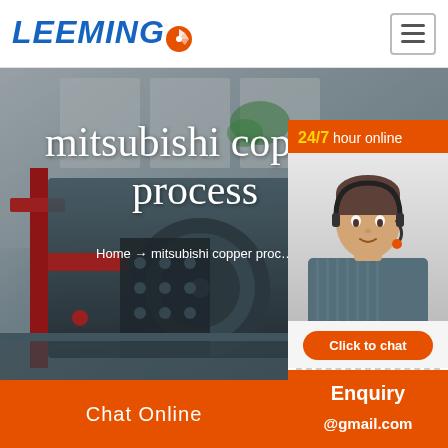LEEMING
[Figure (photo): Industrial mining/crushing machinery in a factory setting, with red structural components, dark machinery housing, and industrial background with windows and greenery. Hero banner image for Leeming website.]
mitsubishi copper process
Home → mitsubishi copper proc…
[Figure (photo): Customer service representative wearing a headset, with orange header showing '24/7 hour online', a 'Click to chat' button, and 'Enquiry' section below.]
Chat Online | cywaitml @gmail.com